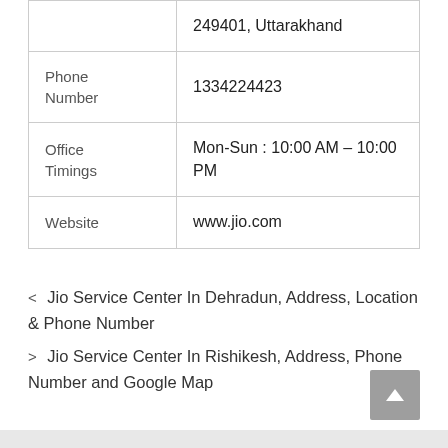|  | 249401, Uttarakhand |
| Phone Number | 1334224423 |
| Office Timings | Mon-Sun : 10:00 AM – 10:00 PM |
| Website | www.jio.com |
< Jio Service Center In Dehradun, Address, Location & Phone Number
> Jio Service Center In Rishikesh, Address, Phone Number and Google Map